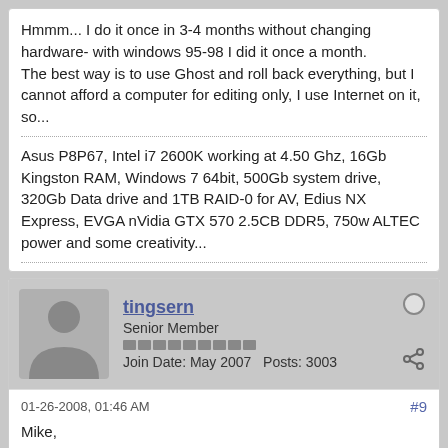Hmmm... I do it once in 3-4 months without changing hardware- with windows 95-98 I did it once a month.
The best way is to use Ghost and roll back everything, but I cannot afford a computer for editing only, I use Internet on it, so...
Asus P8P67, Intel i7 2600K working at 4.50 Ghz, 16Gb Kingston RAM, Windows 7 64bit, 500Gb system drive, 320Gb Data drive and 1TB RAID-0 for AV, Edius NX Express, EVGA nVidia GTX 570 2.5CB DDR5, 750w ALTEC power and some creativity...
tingsern
Senior Member
Join Date: May 2007   Posts: 3003
01-26-2008, 01:46 AM
#9
Mike,

You are asking for trouble :-). Accessing Internet on your video editing machine. The craps and junks you get in there ... is terrible. I run Webroot's Spy Sweeper with Anti Virus + Windows Washer every now once and then to get rid of the yuckies ....